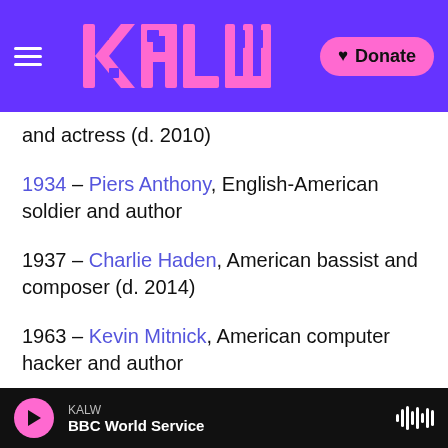KALW | BBC World Service — Donate
and actress (d. 2010)
1934 – Piers Anthony, English-American soldier and author
1937 – Charlie Haden, American bassist and composer (d. 2014)
1963 – Kevin Mitnick, American computer hacker and author
…and on this day in history…
1926 – Gertrude Ederle becomes the first woman
KALW — BBC World Service